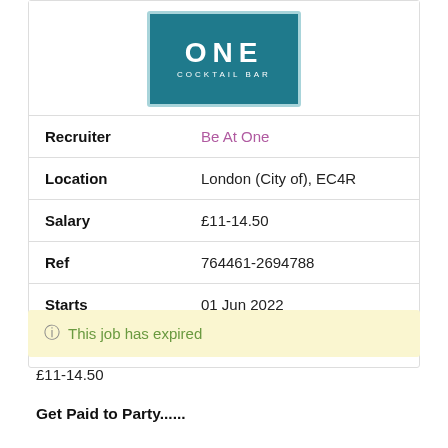[Figure (logo): Be At One Cocktail Bar logo — teal/dark cyan background with white text reading ONE and COCKTAIL BAR, bordered box]
| Recruiter | Be At One |
| Location | London (City of), EC4R |
| Salary | £11-14.50 |
| Ref | 764461-2694788 |
| Starts | 01 Jun 2022 |
| Closes | 28 Jun 2022 |
This job has expired
£11-14.50
Get Paid to Party......